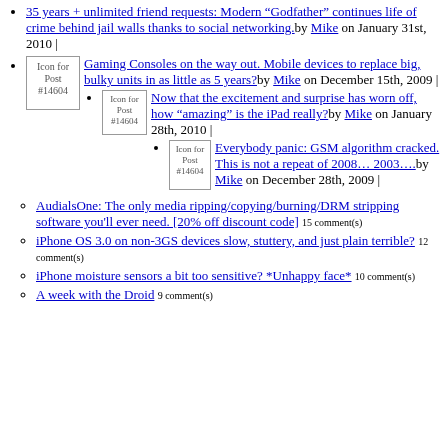35 years + unlimited friend requests: Modern “Godfather” continues life of crime behind jail walls thanks to social networking. by Mike on January 31st, 2010 |
Gaming Consoles on the way out. Mobile devices to replace big, bulky units in as little as 5 years? by Mike on December 15th, 2009 |
Now that the excitement and surprise has worn off, how “amazing” is the iPad really? by Mike on January 28th, 2010 |
Everybody panic: GSM algorithm cracked. This is not a repeat of 2008…2003…. by Mike on December 28th, 2009 |
AudialsOne: The only media ripping/copying/burning/DRM stripping software you'll ever need. [20% off discount code] 15 comment(s)
iPhone OS 3.0 on non-3GS devices slow, stuttery, and just plain terrible? 12 comment(s)
iPhone moisture sensors a bit too sensitive? *Unhappy face* 10 comment(s)
A week with the Droid 9 comment(s)